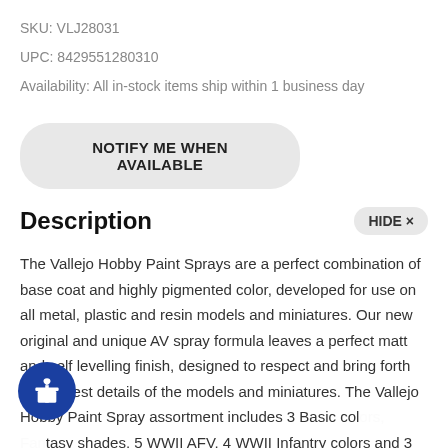SKU:  VLJ28031
UPC:  8429551280310
Availability:  All in-stock items ship within 1 business day
NOTIFY ME WHEN AVAILABLE
Description
HIDE ×
The Vallejo Hobby Paint Sprays are a perfect combination of base coat and highly pigmented color, developed for use on all metal, plastic and resin models and miniatures. Our new original and unique AV spray formula leaves a perfect matt and self levelling finish, designed to respect and bring forth even finest details of the models and miniatures. The Vallejo Hobby Paint Spray assortment includes 3 Basic colors, Fantasy shades, 5 WWII AFV, 4 WWII Infantry colors and 3 varnishes (34 colors in total). The new Spray Colors are a perfect match to the corresponding shades available in our Game and Model